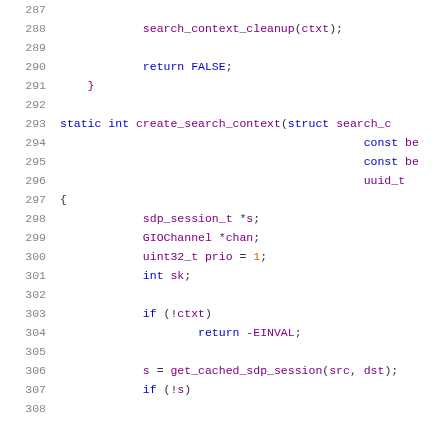Source code listing lines 287-307, C language code snippet showing search_context_cleanup, return FALSE, create_search_context function definition, and local variable declarations with if statement and get_cached_sdp_session call.